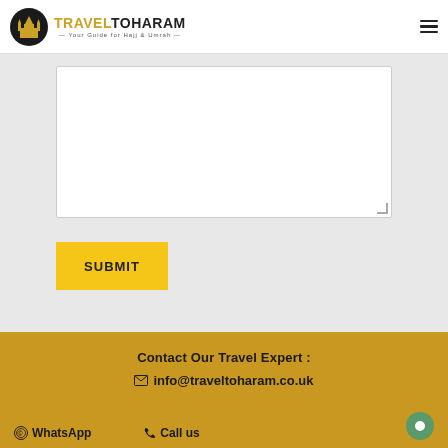[Figure (logo): Travel to Haram logo with mosque icon and text 'Your Guide for Hajj & Umrah']
[Figure (other): Text input textarea form field]
SUBMIT
Contact Our Travel Expert :
info@traveltoharam.co.uk
WhatsApp
Call us